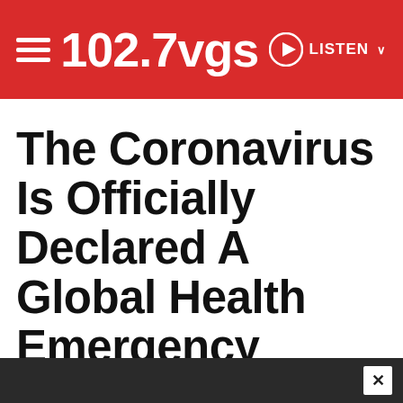102.7VGS — LISTEN
The Coronavirus Is Officially Declared A Global Health Emergency